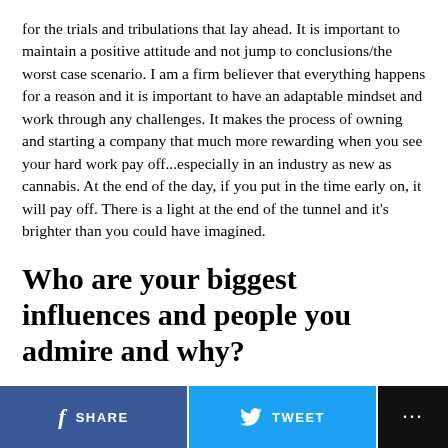for the trials and tribulations that lay ahead. It is important to maintain a positive attitude and not jump to conclusions/the worst case scenario. I am a firm believer that everything happens for a reason and it is important to have an adaptable mindset and work through any challenges. It makes the process of owning and starting a company that much more rewarding when you see your hard work pay off...especially in an industry as new as cannabis. At the end of the day, if you put in the time early on, it will pay off. There is a light at the end of the tunnel and it's brighter than you could have imagined.
Who are your biggest influences and people you admire and why?
[Figure (infographic): Social sharing footer bar with Facebook Share button (dark blue), Twitter Tweet button (light blue), and a more options button (black with ellipsis)]